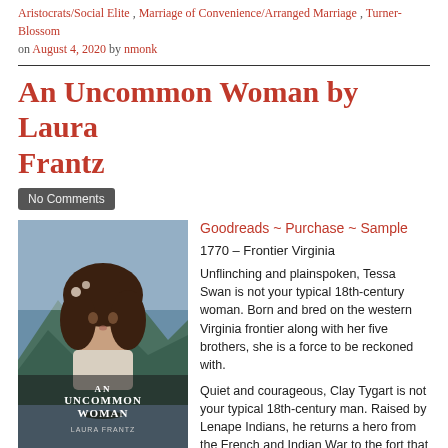Aristocrats/Social Elite , Marriage of Convenience/Arranged Marriage , Turner-Blossom on August 4, 2020 by nmonk
An Uncommon Woman by Laura Frantz
No Comments
[Figure (photo): Book cover of An Uncommon Woman by Laura Frantz, showing a young woman with dark hair against a mountainous landscape background.]
Goodreads ~ Purchase ~ Sample
1770 – Frontier Virginia
Unflinching and plainspoken, Tessa Swan is not your typical 18th-century woman. Born and bred on the western Virginia frontier along with her five brothers, she is a force to be reckoned with.
Quiet and courageous, Clay Tygart is not your typical 18th-century man. Raised by Lenape Indians, he returns a hero from the French and Indian War to the fort that bears his name, bringing with him Tessa's long-lost friend, Keturah, a redeemed Indian captive like himself.
Determined to avoid any romantic entanglements as fort commander, Clay remains aloof whenever he encounters the lovely Tessa. But when she is taken captive by the tribe Clay left, his hand–and heart–are forced, leading